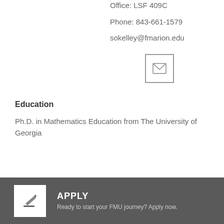Office: LSF 409C
Phone: 843-661-1579
sokelley@fmarion.edu
[Figure (other): Email envelope icon button in a square border]
Education
Ph.D. in Mathematics Education from The University of Georgia
APPLY
Ready to start your FMU journey? Apply now.